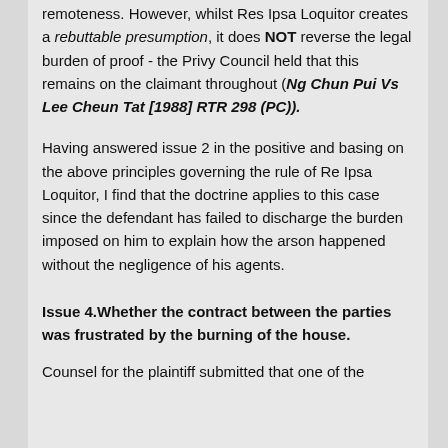remoteness. However, whilst Res Ipsa Loquitor creates a rebuttable presumption, it does NOT reverse the legal burden of proof - the Privy Council held that this remains on the claimant throughout (Ng Chun Pui Vs Lee Cheun Tat [1988] RTR 298 (PC)).
Having answered issue 2 in the positive and basing on the above principles governing the rule of Re Ipsa Loquitor, I find that the doctrine applies to this case since the defendant has failed to discharge the burden imposed on him to explain how the arson happened without the negligence of his agents.
Issue 4.Whether the contract between the parties was frustrated by the burning of the house.
Counsel for the plaintiff submitted that one of the